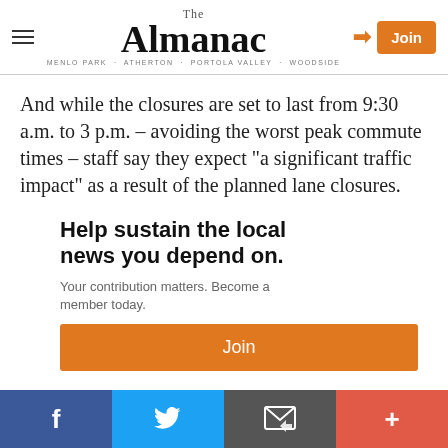The Almanac — MENLO PARK · ATHERTON · PORTOLA VALLEY · WOODSIDE
And while the closures are set to last from 9:30 a.m. to 3 p.m. – avoiding the worst peak commute times – staff say they expect "a significant traffic impact" as a result of the planned lane closures.
Help sustain the local news you depend on.
Your contribution matters. Become a member today.
Join
Updated Ranch on Cul-de-Sac
f  |  Twitter  |  Email  |  +